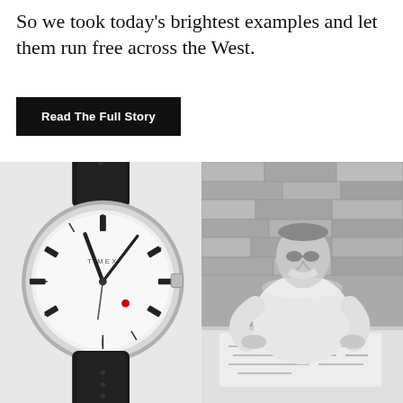So we took today's brightest examples and let them run free across the West.
Read The Full Story
[Figure (photo): Close-up product photo of a Timex watch with a black leather strap and silver case on white background]
[Figure (photo): Black and white photo of a man leaning over a table looking at papers or drawings, with a stone wall background]